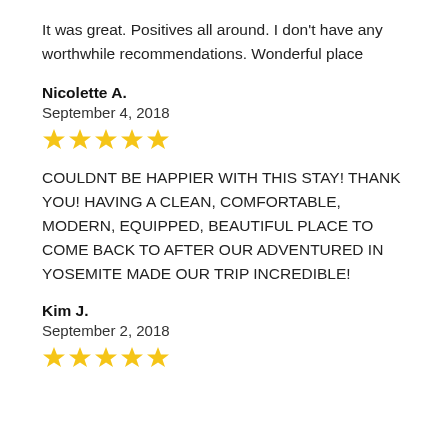It was great. Positives all around. I don't have any worthwhile recommendations. Wonderful place
Nicolette A.
September 4, 2018
[Figure (other): 5 yellow stars rating]
COULDNT BE HAPPIER WITH THIS STAY! THANK YOU! HAVING A CLEAN, COMFORTABLE, MODERN, EQUIPPED, BEAUTIFUL PLACE TO COME BACK TO AFTER OUR ADVENTURED IN YOSEMITE MADE OUR TRIP INCREDIBLE!
Kim J.
September 2, 2018
[Figure (other): 5 yellow stars rating]